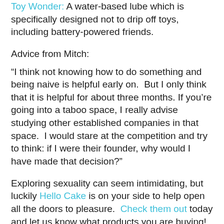Toy Wonder: A water-based lube which is specifically designed not to drip off toys, including battery-powered friends.
Advice from Mitch:
“I think not knowing how to do something and being naive is helpful early on.  But I only think that it is helpful for about three months. If you’re going into a taboo space, I really advise studying other established companies in that space.  I would stare at the competition and try to think: if I were their founder, why would I have made that decision?”
Exploring sexuality can seem intimidating, but luckily Hello Cake is on your side to help open all the doors to pleasure.  Check them out today and let us know what products you are buying!